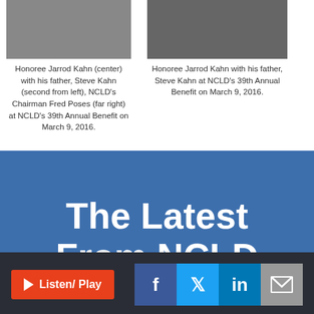[Figure (photo): Photo of Honoree Jarrod Kahn (center) with his father Steve Kahn (second from left) and NCLD's Chairman Fred Poses (far right) at NCLD's 39th Annual Benefit]
Honoree Jarrod Kahn (center) with his father, Steve Kahn (second from left), NCLD's Chairman Fred Poses (far right) at NCLD's 39th Annual Benefit on March 9, 2016.
[Figure (photo): Photo of Honoree Jarrod Kahn with his father Steve Kahn at NCLD's 39th Annual Benefit]
Honoree Jarrod Kahn with his father, Steve Kahn at NCLD's 39th Annual Benefit on March 9, 2016.
The Latest From NCLD